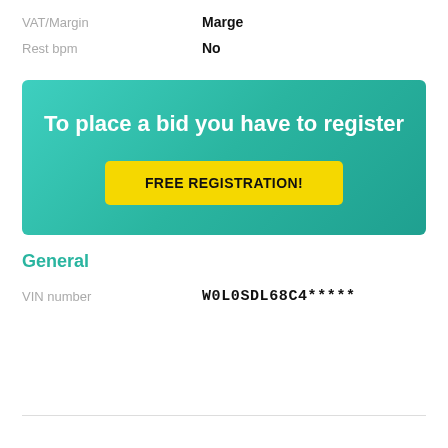| VAT/Margin | Marge |
| Rest bpm | No |
[Figure (infographic): Teal/green gradient banner with white bold text 'To place a bid you have to register' and a yellow button labeled 'FREE REGISTRATION!']
General
| VIN number | W0L0SDL68C4***** |